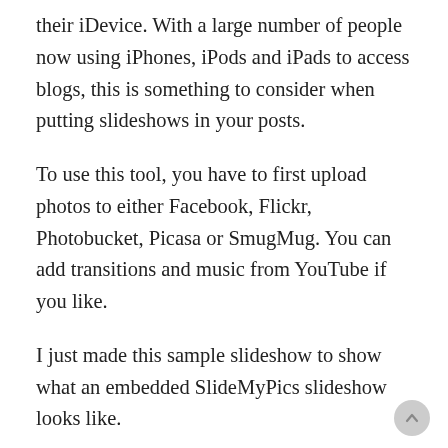their iDevice. With a large number of people now using iPhones, iPods and iPads to access blogs, this is something to consider when putting slideshows in your posts.
To use this tool, you have to first upload photos to either Facebook, Flickr, Photobucket, Picasa or SmugMug. You can add transitions and music from YouTube if you like.
I just made this sample slideshow to show what an embedded SlideMyPics slideshow looks like.
NoSuchBucketThe specified bucket does not existfiles.slidemypics.comGVMKNFN7JXSP95DMgAwLqbzo